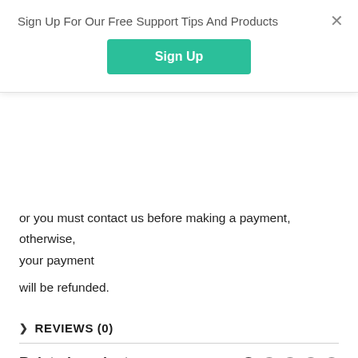Sign Up For Our Free Support Tips And Products
Sign Up
or you must contact us before making a payment, otherwise, your payment

will be refunded.
REVIEWS (0)
Related products
[Figure (photo): Two product images shown side by side in the Related products section — a dark grey electronic device on the left and a lighter grey device on the right]